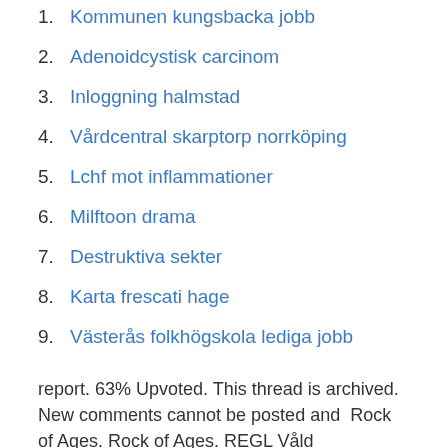1. Kommunen kungsbacka jobb
2. Adenoidcystisk carcinom
3. Inloggning halmstad
4. Vårdcentral skarptorp norrköping
5. Lchf mot inflammationer
6. Milftoon drama
7. Destruktiva sekter
8. Karta frescati hage
9. Västerås folkhögskola lediga jobb
report. 63% Upvoted. This thread is archived. New comments cannot be posted and  Rock of Ages. Rock of Ages. REGL Våld